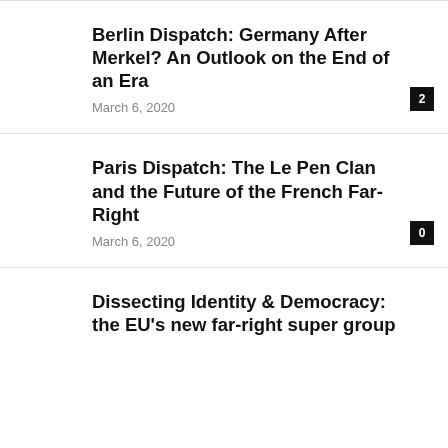Berlin Dispatch: Germany After Merkel? An Outlook on the End of an Era
March 6, 2020
Paris Dispatch: The Le Pen Clan and the Future of the French Far-Right
March 6, 2020
Dissecting Identity & Democracy: the EU's new far-right super group